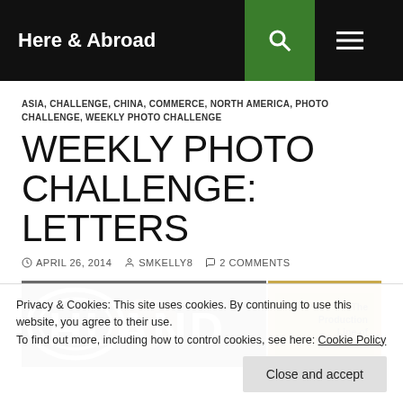Here & Abroad
ASIA, CHALLENGE, CHINA, COMMERCE, NORTH AMERICA, PHOTO CHALLENGE, WEEKLY PHOTO CHALLENGE
WEEKLY PHOTO CHALLENGE: LETTERS
APRIL 26, 2014  SMKELLY8  2 COMMENTS
[Figure (photo): Two photos side by side: left shows a sign with letters 'HLAND', right shows a yellow/golden background with text 'The Production Line of']
Privacy & Cookies: This site uses cookies. By continuing to use this website, you agree to their use.
To find out more, including how to control cookies, see here: Cookie Policy
Close and accept